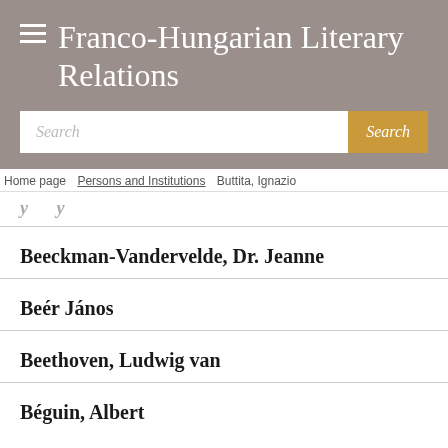Franco-Hungarian Literary Relations
Search
Home page > Persons and Institutions > Buttita, Ignazio
Beeckman-Vandervelde, Dr. Jeanne
Beér János
Beethoven, Ludwig van
Béguin, Albert